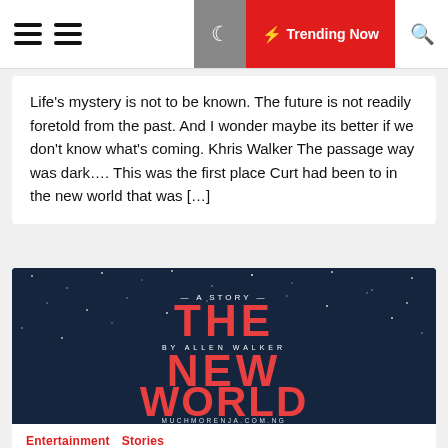Navigation bar with hamburger menus, moon icon, Trending Now button, and search icon
Life’s mystery is not to be known. The future is not readily foretold from the past. And I wonder maybe its better if we don’t know what’s coming. Khris Walker The passage way was dark…. This was the first place Curt had been to in the new world that was […]
[Figure (illustration): Book/story cover image with dark blue starfield background featuring large red bold text reading THE NEW WORLD, subtitle A STORY BY ALLEN WALKER, and URL muchmorenja.com.ng at the bottom]
Entertainment    Stories
Story: The New World by Allen Walker – Episode 9